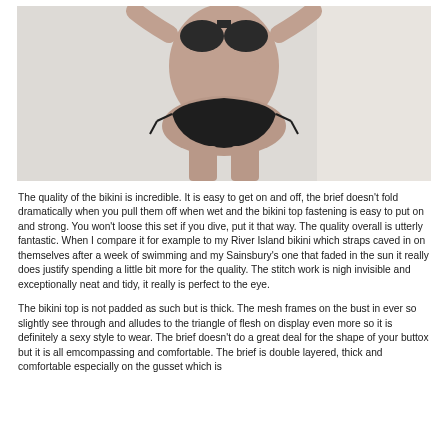[Figure (photo): A person wearing a black bikini (top and bottom with tie sides), photographed from neck to upper thigh against a light wall background.]
The quality of the bikini is incredible. It is easy to get on and off, the brief doesn't fold dramatically when you pull them off when wet and the bikini top fastening is easy to put on and strong. You won't loose this set if you dive, put it that way. The quality overall is utterly fantastic. When I compare it for example to my River Island bikini which straps caved in on themselves after a week of swimming and my Sainsbury's one that faded in the sun it really does justify spending a little bit more for the quality. The stitch work is nigh invisible and exceptionally neat and tidy, it really is perfect to the eye.
The bikini top is not padded as such but is thick. The mesh frames on the bust in ever so slightly see through and alludes to the triangle of flesh on display even more so it is definitely a sexy style to wear. The brief doesn't do a great deal for the shape of your buttox but it is all emcompassing and comfortable. The brief is double layered, thick and comfortable especially on the gusset which is